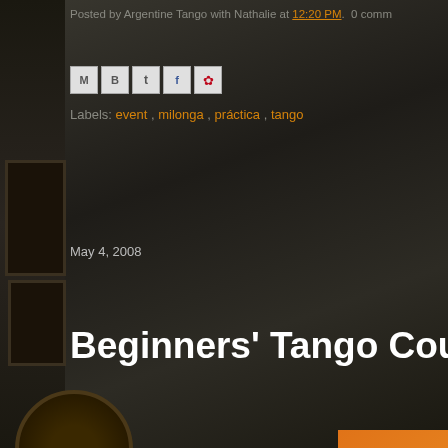Posted by Argentine Tango with Nathalie at 12:20 PM. 0 comm
Labels: event , milonga , práctica , tango
May 4, 2008
Beginners' Tango Course Leve
Argentine Tango
Beginners: Level 2

Four one and a half hour sessions

every other Friday starting 9th May 2008 8:30pm sharp

Places are limited €30 per participant

To be held at